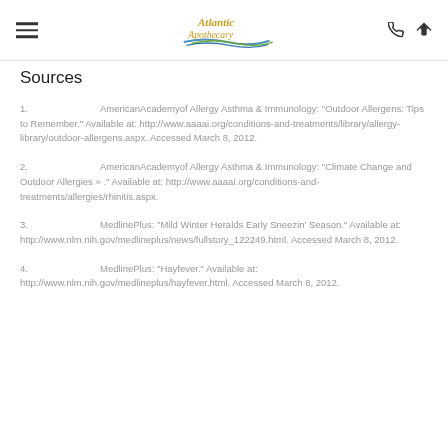Atlantic Apothecary logo with menu and contact icons
Sources
1.   AmericanAcademyof Allergy Asthma & Immunology: "Outdoor Allergens: Tips to Remember." Available at: http://www.aaaai.org/conditions-and-treatments/library/allergy-library/outdoor-allergens.aspx. Accessed March 8, 2012.
2.   AmericanAcademyof Allergy Asthma & Immunology: "Climate Change and Outdoor Allergies » ." Available at: http://www.aaaai.org/conditions-and-treatments/allergies/rhinitis.aspx.
3.   MedlinePlus: "Mild Winter Heralds Early Sneezin' Season." Available at: http://www.nlm.nih.gov/medlineplus/news/fullstory_122249.html. Accessed March 8, 2012.
4.   MedlinePlus: "Hayfever." Available at: http://www.nlm.nih.gov/medlineplus/hayfever.html. Accessed March 8, 2012.